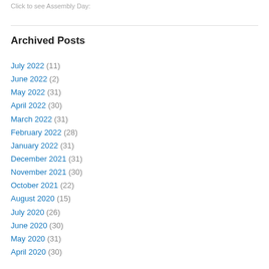Click to see Assembly Day:
Archived Posts
July 2022 (11)
June 2022 (2)
May 2022 (31)
April 2022 (30)
March 2022 (31)
February 2022 (28)
January 2022 (31)
December 2021 (31)
November 2021 (30)
October 2021 (22)
August 2020 (15)
July 2020 (26)
June 2020 (30)
May 2020 (31)
April 2020 (30)